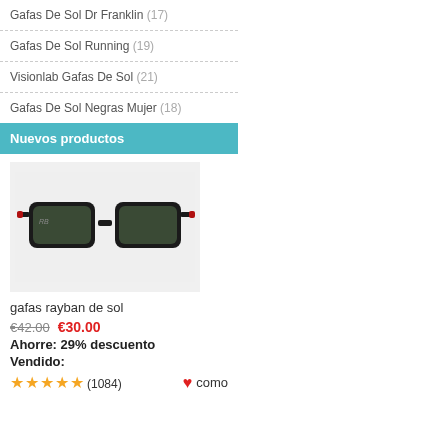Gafas De Sol Dr Franklin (17)
Gafas De Sol Running (19)
Visionlab Gafas De Sol (21)
Gafas De Sol Negras Mujer (18)
Nuevos productos
[Figure (photo): Ray-Ban sunglasses with black frame and dark green lenses on a light grey background]
gafas rayban de sol
€42.00  €30.00
Ahorre: 29% descuento
Vendido:
★★★★★(1084)  ♥ como